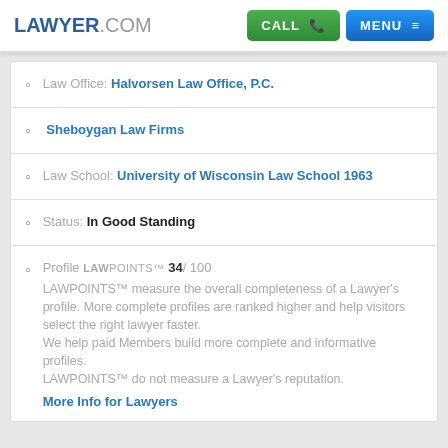LAWYER.COM | CALL | MENU
Law Office: Halvorsen Law Office, P.C.
Sheboygan Law Firms
Law School: University of Wisconsin Law School 1963
Status: In Good Standing
Profile LAWPOINTS™ 34/ 100 LAWPOINTS™ measure the overall completeness of a Lawyer's profile. More complete profiles are ranked higher and help visitors select the right lawyer faster. We help paid Members build more complete and informative profiles. LAWPOINTS™ do not measure a Lawyer's reputation. More Info for Lawyers